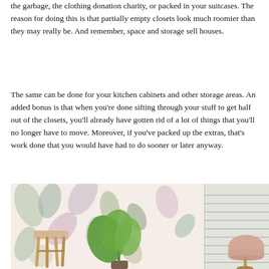the garbage, the clothing donation charity, or packed in your suitcases. The reason for doing this is that partially empty closets look much roomier than they may really be. And remember, space and storage sell houses.
The same can be done for your kitchen cabinets and other storage areas. An added bonus is that when you're done sifting through your stuff to get half out of the closets, you'll already have gotten rid of a lot of things that you'll no longer have to move. Moreover, if you've packed up the extras, that's work done that you would have had to do sooner or later anyway.
[Figure (photo): A styled interior room photo showing a wooden stool, a large green tropical plant, and a pink dome lamp against a floral botanical wallpaper with soft pink, green, and purple leaf patterns. A window with white horizontal blinds is visible on the right side.]